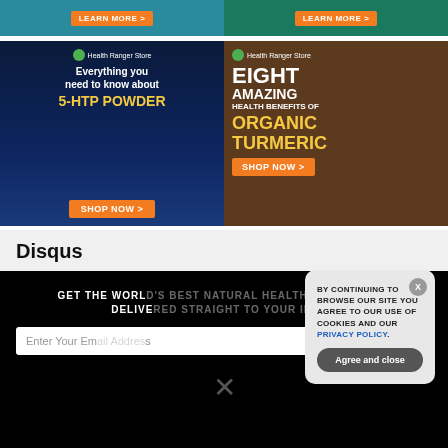[Figure (screenshot): Top two advertisement banners with LEARN MORE buttons on teal/green backgrounds]
[Figure (screenshot): Health Ranger Store ad: Everything you need to know about 5-HTP POWDER with SHOP NOW button on dark blue background]
[Figure (screenshot): Health Ranger Store ad: EIGHT AMAZING HEALTH BENEFITS OF ORGANIC TURMERIC with SHOP NOW button on brown background]
Disqus
GET THE WORLD'S BEST NATURAL HEALTH NEWSLETTER DELIVERED STRAIGHT TO YOUR INBOX
Enter Your Email Address
SUBSCRIBE
BY CONTINUING TO BROWSE OUR SITE YOU AGREE TO OUR USE OF COOKIES AND OUR PRIVACY POLICY.
Agree and close